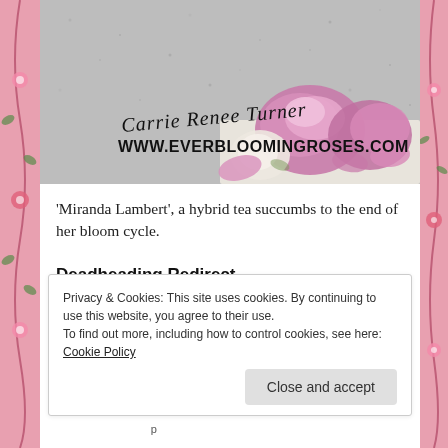[Figure (photo): A photo of pink rose petals (Miranda Lambert hybrid tea) at the end of bloom cycle, lying on a white surface against a textured grey wall. Text overlay reads 'Carrie Renee Turner' in script and 'WWW.EVERBLOOMINGROSES.COM' in bold.]
'Miranda Lambert', a hybrid tea succumbs to the end of her bloom cycle.
Deadheading Redirect
Privacy & Cookies: This site uses cookies. By continuing to use this website, you agree to their use.
To find out more, including how to control cookies, see here: Cookie Policy
Close and accept